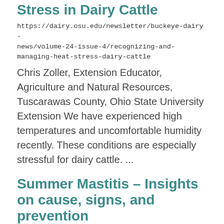Stress in Dairy Cattle
https://dairy.osu.edu/newsletter/buckeye-dairy-news/volume-24-issue-4/recognizing-and-managing-heat-stress-dairy-cattle
Chris Zoller, Extension Educator, Agriculture and Natural Resources, Tuscarawas County, Ohio State University Extension We have experienced high temperatures and uncomfortable humidity recently. These conditions are especially stressful for dairy cattle.  ...
Summer Mastitis – Insights on cause, signs, and prevention
https://dairy.osu.edu/newsletter/buckeye-dairy-news/volume-24-issue-4/summer-mastitis-%E2%80%93-insights-cause-signs-and